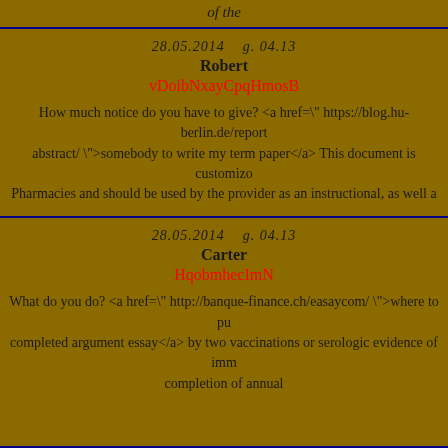of the
28.05.2014    g. 04.13
Robert
vDoibNxayCpqHmosB

How much notice do you have to give? <a href=" https://blog.hu-berlin.de/report abstract/ ">somebody to write my term paper</a> This document is customiz... Pharmacies and should be used by the provider as an instructional, as well a
28.05.2014    g. 04.13
Carter
HqobmhecImN

What do you do? <a href=" http://banque-finance.ch/easaycom/ ">where to pu completed argument essay</a> by two vaccinations or serologic evidence of imm completion of annual